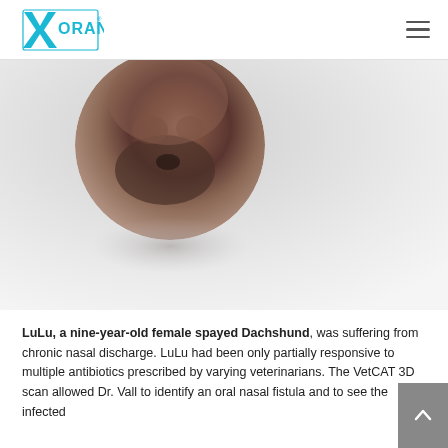Xoran Technologies
[Figure (photo): A dog (Dachshund) photographed in a circular crop against a light grey background. The photo shows the dog's face and upper body in a circular portrait style with a soft shadow beneath.]
LuLu, a nine-year-old female spayed Dachshund, was suffering from chronic nasal discharge. LuLu had been only partially responsive to multiple antibiotics prescribed by varying veterinarians. The VetCAT 3D scan allowed Dr. Vall to identify an oral nasal fistula and to see the infected surrounding teeth as the underlying cause of her chronic